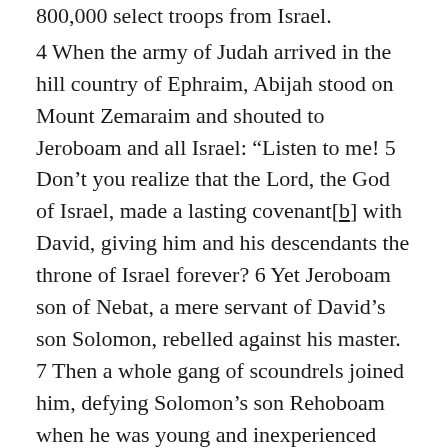800,000 select troops from Israel. 4 When the army of Judah arrived in the hill country of Ephraim, Abijah stood on Mount Zemaraim and shouted to Jeroboam and all Israel: “Listen to me! 5 Don’t you realize that the Lord, the God of Israel, made a lasting covenant[b] with David, giving him and his descendants the throne of Israel forever? 6 Yet Jeroboam son of Nebat, a mere servant of David’s son Solomon, rebelled against his master. 7 Then a whole gang of scoundrels joined him, defying Solomon’s son Rehoboam when he was young and inexperienced and could not stand up to them. 8 “Do you really think you can stand against the kingdom of the Lord that is led by the descendants of David? You may have a vast army, and you have those gold calves that Jeroboam made as your gods. 9 But you have chased away the priests of